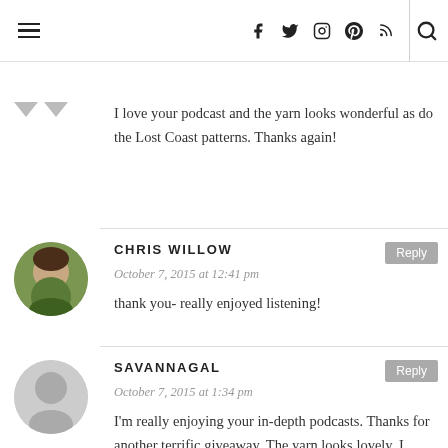Navigation bar with hamburger menu, social icons (facebook, twitter, instagram, pinterest, rss), and search icon
I love your podcast and the yarn looks wonderful as do the Lost Coast patterns. Thanks again!
CHRIS WILLOW
October 7, 2015 at 12:41 pm
thank you- really enjoyed listening!
SAVANNAGAL
October 7, 2015 at 1:34 pm
I'm really enjoying your in-depth podcasts. Thanks for another terrific giveaway. The yarn looks lovely. I especially like that it is 3 ply.